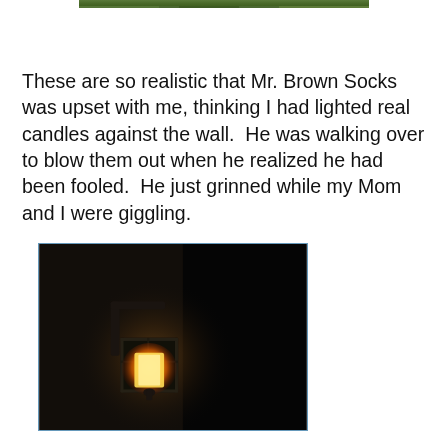[Figure (photo): Partial view of a photo at the top of the page, cropped — appears to show decorative or nature scene in dark green tones]
These are so realistic that Mr. Brown Socks was upset with me, thinking I had lighted real candles against the wall.  He was walking over to blow them out when he realized he had been fooled.  He just grinned while my Mom and I were giggling.
[Figure (photo): Photograph of a wall-mounted candle sconce in a dark room. The candle holder is black metal with a glowing amber/orange candle inside, positioned against a wall with warm light emanating from the flame against an otherwise very dark background.]